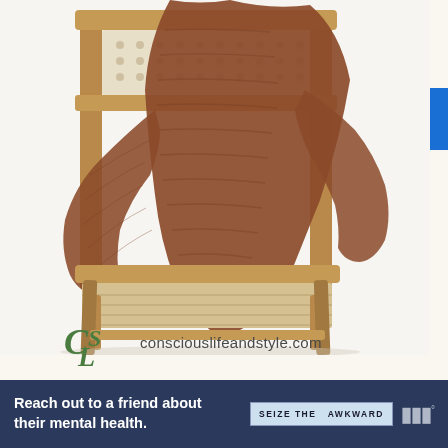[Figure (photo): A wooden folding chair with a cane/rattan back and seat, with a brown chunky knit sweater draped over it. The photo is taken against a white background. The conscouslifeandstyle.com watermark with CSL logo appears at the bottom left of the image.]
[Figure (logo): CSL logo (green serif italic letters C, S, L) followed by the URL text 'consciouslifeandstyle.com' in dark gray]
Reach out to a friend about their mental health. SEIZE THE AWKWARD